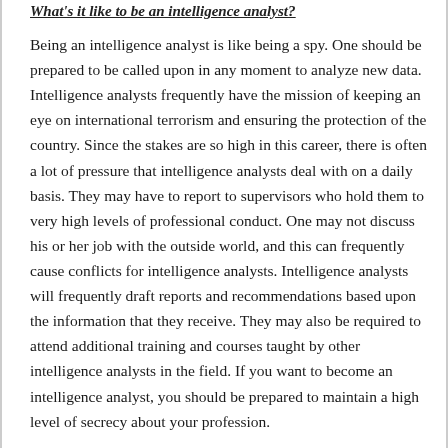What's it like to be an intelligence analyst?
Being an intelligence analyst is like being a spy. One should be prepared to be called upon in any moment to analyze new data. Intelligence analysts frequently have the mission of keeping an eye on international terrorism and ensuring the protection of the country. Since the stakes are so high in this career, there is often a lot of pressure that intelligence analysts deal with on a daily basis. They may have to report to supervisors who hold them to very high levels of professional conduct. One may not discuss his or her job with the outside world, and this can frequently cause conflicts for intelligence analysts. Intelligence analysts will frequently draft reports and recommendations based upon the information that they receive. They may also be required to attend additional training and courses taught by other intelligence analysts in the field. If you want to become an intelligence analyst, you should be prepared to maintain a high level of secrecy about your profession.